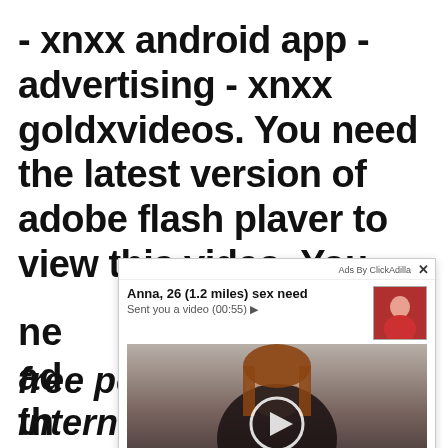- xnxx android app - advertising - xnxx goldxvideos. You need the latest version of adobe flash player to view this video. You ne ad th cr vi en t free porn videos on internet
[Figure (screenshot): An advertisement overlay popup from ClickAdilla showing a notification-style ad with a woman's thumbnail photo, title 'Anna, 26 (1.2 miles) sex need', subtitle 'Sent you a video (00:55)', and a video preview image with a play button. Timestamp shows '2md'.]